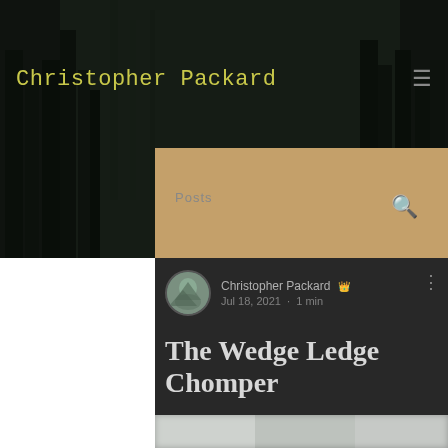Christopher Packard
Christopher Packard · Jul 18, 2021 · 1 min
The Wedge Ledge Chomper
[Figure (photo): Blurred outdoor/mountain photograph at the bottom of the article card]